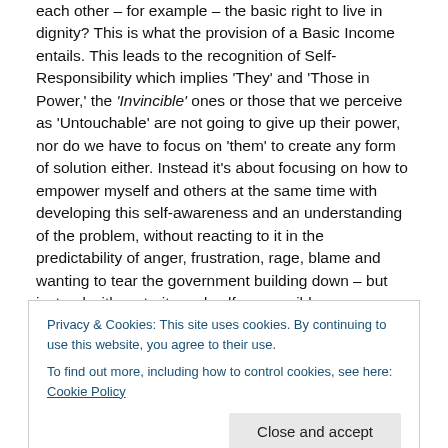each other – for example – the basic right to live in dignity? This is what the provision of a Basic Income entails. This leads to the recognition of Self-Responsibility which implies 'They' and 'Those in Power,' the 'Invincible' ones or those that we perceive as 'Untouchable' are not going to give up their power, nor do we have to focus on 'them' to create any form of solution either. Instead it's about focusing on how to empower myself and others at the same time with developing this self-awareness and an understanding of the problem, without reacting to it in the predictability of anger, frustration, rage, blame and wanting to tear the government building down – but instead with maturity and self-responsible assessments.
It is about motivating oneself to see through the a new solution-based mindset and at the same time, inciting others to consider self-responsibility and Act in the
Privacy & Cookies: This site uses cookies. By continuing to use this website, you agree to their use.
To find out more, including how to control cookies, see here: Cookie Policy
ourselves that we can stand up as a reformed and